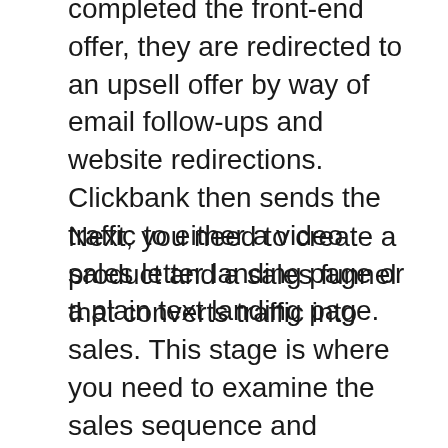completed the front-end offer, they are redirected to an upsell offer by way of email follow-ups and website redirections. Clickbank then sends the traffic to either a video sales letter landing page or a plain text landing page.
Next, you need to create a product and a sales funnel that converts traffic into sales. This stage is where you need to examine the sales sequence and number of upsells. These factors can greatly affect your affiliate earnings and conversion rate. To convert visitors into paying customers, the sales funnel should be optimized. Once your affiliate sales start generating revenue, it's time to scale your business.